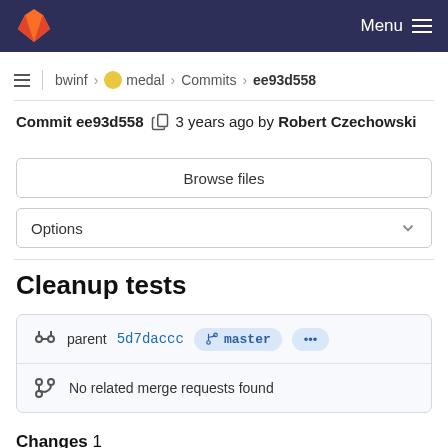Menu
bwinf > medal > Commits > ee93d558
Commit ee93d558  3 years ago by Robert Czechowski
Browse files
Options
Cleanup tests
parent 5d7daccc  master  ...
No related merge requests found
Changes 1